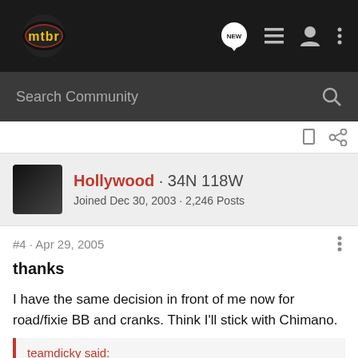[Figure (logo): mtbr logo - yellow/red text on dark circle background in top navigation bar]
Search Community
#4 · Apr 29, 2005
Hollywood · 34N 118W
Joined Dec 30, 2003 · 2,246 Posts
thanks
I have the same decision in front of me now for road/fixie BB and cranks. Think I'll stick with Chimano.
teamdicky said:
I went through XT to Race Face Isis to Race Face X-Type.